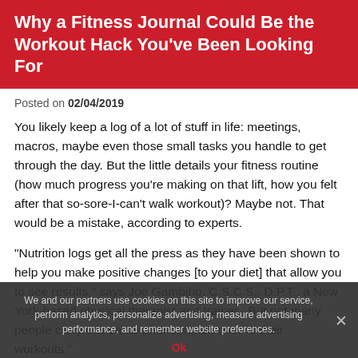Why a Fitness Journal Could Be the Workout Hack You've Been Looking For
Posted on 02/04/2019
You likely keep a log of a lot of stuff in life: meetings, macros, maybe even those small tasks you handle to get through the day. But the little details your fitness routine (how much progress you're making on that lift, how you felt after that so-sore-I-can't walk workout)? Maybe not. That would be a mistake, according to experts.
"Nutrition logs get all the press as they have been shown to help you make positive changes [to your diet] that allow you to see results," says Joe Gambino, C.S.C.S., D.P.T., a New York-based physical therapist and trainer. But not many people carry this same phenomenon over to their workouts."
Trainers say you should, since the results can be
We and our partners use cookies on this site to improve our service, perform analytics, personalize advertising, measure advertising performance, and remember website preferences.
Ok